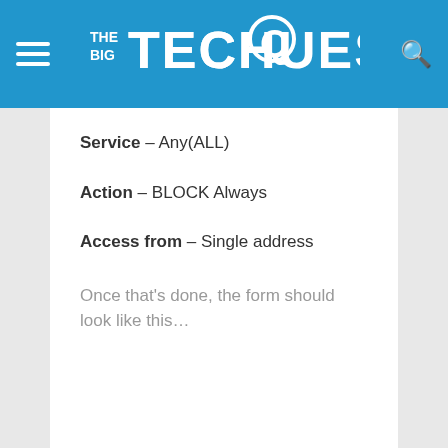THE BIG TECH QUESTION
Service – Any(ALL)
Action – BLOCK Always
Access from – Single address
Once that's done, the form should look like this...